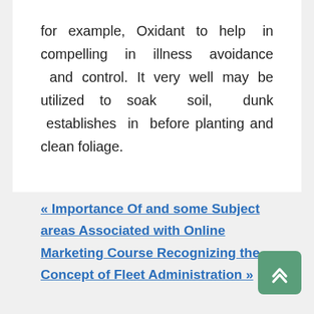for example, Oxidant to help in compelling in illness avoidance and control. It very well may be utilized to soak soil, dunk establishes in before planting and clean foliage.
« Importance Of and some Subject areas Associated with Online Marketing Course Recognizing the Concept of Fleet Administration »